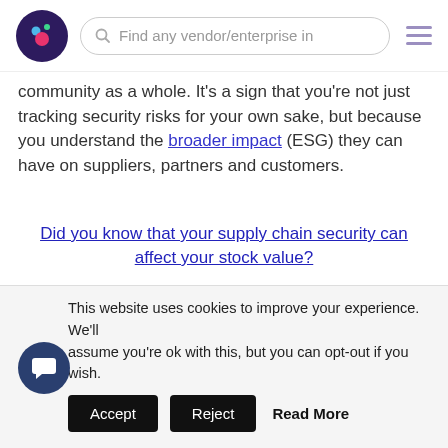Find any vendor/enterprise in... [search bar with logo and hamburger menu]
community as a whole. It's a sign that you're not just tracking security risks for your own sake, but because you understand the broader impact (ESG) they can have on suppliers, partners and customers.
Did you know that your supply chain security can affect your stock value?
5 Steps for Creating a Coordinated Vulnerability Disclosure Program
Now that we know what coordinated vulnerability...
This website uses cookies to improve your experience. We'll assume you're ok with this, but you can opt-out if you wish.